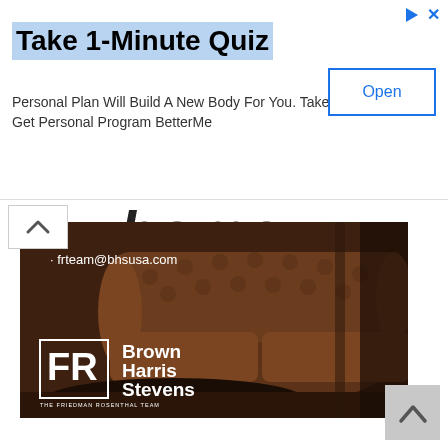Take 1-Minute Quiz
Personal Plan Will Build A New Body For You. Take An Quiz To Get Personal Program BetterMe
[Figure (screenshot): Open button for BetterMe ad]
[Figure (photo): Brown Harris Stevens real estate advertisement showing a leather Chesterfield sofa, email frteam@bhsusa.com, FR logo, and Brown Harris Stevens brand name. THE FRIEDMAN ROSENTHAL TEAM text at bottom.]
[Figure (other): Scroll to top button with upward chevron arrow]